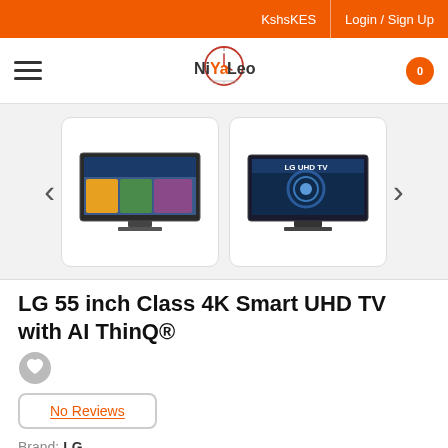KshsKES  Login / Sign Up
[Figure (screenshot): NiYaLeo logo — circular clock/compass icon with text NiYaLeo]
[Figure (photo): LG 55-inch TV product image gallery showing two thumbnail images: one showing the TV's front display and one branded LG UHD TV]
LG 55 inch Class 4K Smart UHD TV with AI ThinQ®
No Reviews
Brand: LG
Kshs76,000.00